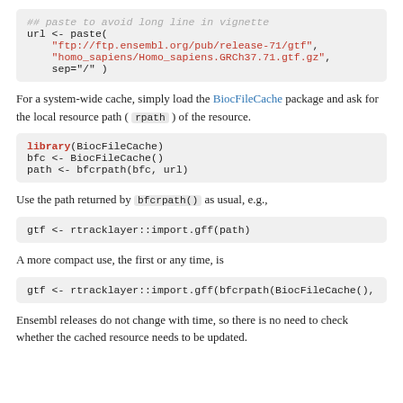[Figure (other): Code block: url <- paste( with FTP URLs and sep argument]
For a system-wide cache, simply load the BiocFileCache package and ask for the local resource path ( rpath ) of the resource.
[Figure (other): Code block: library(BiocFileCache), bfc <- BiocFileCache(), path <- bfcrpath(bfc, url)]
Use the path returned by bfcrpath() as usual, e.g.,
[Figure (other): Code block: gtf <- rtracklayer::import.gff(path)]
A more compact use, the first or any time, is
[Figure (other): Code block: gtf <- rtracklayer::import.gff(bfcrpath(BiocFileCache(),]
Ensembl releases do not change with time, so there is no need to check whether the cached resource needs to be updated.